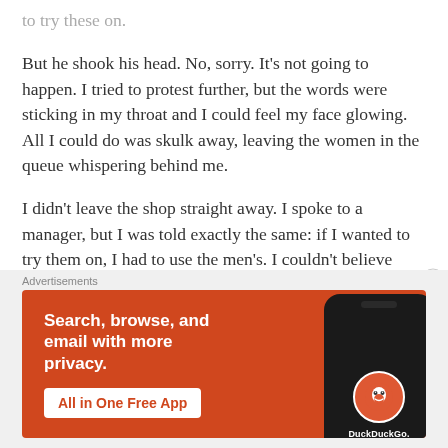to try these on.
But he shook his head. No, sorry. It’s not going to happen. I tried to protest further, but the words were sticking in my throat and I could feel my face glowing. All I could do was skulk away, leaving the women in the queue whispering behind me.
I didn’t leave the shop straight away. I spoke to a manager, but I was told exactly the same: if I wanted to try them on, I had to use the men’s. I couldn’t believe what I was hearing, but I didn’t argue or fight. In fact, in a daze, I carefully folded the two tops and
[Figure (screenshot): DuckDuckGo advertisement banner: orange/red background with white text reading 'Search, browse, and email with more privacy. All in One Free App' with a phone mockup showing the DuckDuckGo logo and name.]